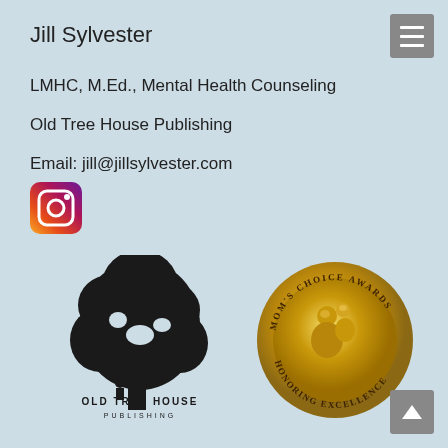Jill Sylvester
LMHC, M.Ed., Mental Health Counseling
Old Tree House Publishing
Email: jill@jillsylvester.com
[Figure (logo): Instagram camera icon]
[Figure (logo): Old Tree House Publishing logo — black silhouette of a large tree with text 'OLD TREE HOUSE PUBLISHING' below]
[Figure (logo): Mom's Choice Awards gold medallion — circular gold badge with text 'MOM'S CHOICE AWARDS HONORING EXCELLENCE' and a mother-child figure in center]